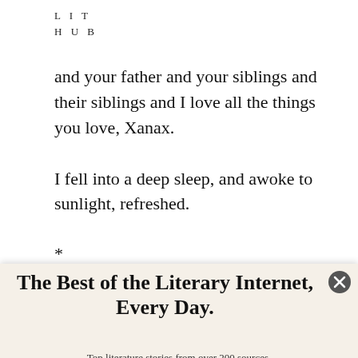LIT
HUB
and your father and your siblings and their siblings and I love all the things you love, Xanax.
I fell into a deep sleep, and awoke to sunlight, refreshed.
*
The Best of the Literary Internet, Every Day.
Top literature stories from over 200 sources.